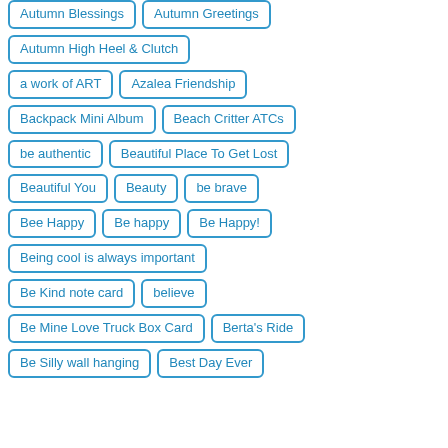Autumn Blessings
Autumn Greetings
Autumn High Heel & Clutch
a work of ART
Azalea Friendship
Backpack Mini Album
Beach Critter ATCs
be authentic
Beautiful Place To Get Lost
Beautiful You
Beauty
be brave
Bee Happy
Be happy
Be Happy!
Being cool is always important
Be Kind note card
believe
Be Mine Love Truck Box Card
Berta's Ride
Be Silly wall hanging
Best Day Ever